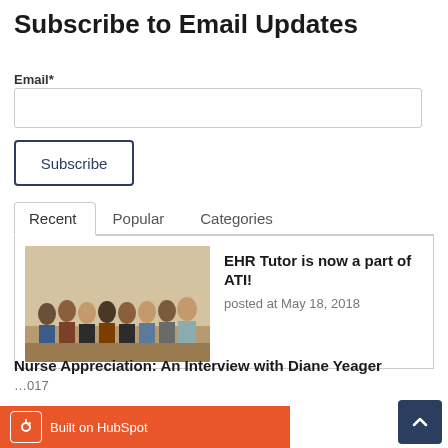Subscribe to Email Updates
Email*
Subscribe
Recent   Popular   Categories
[Figure (photo): Group photo of EHR Tutor team members standing together indoors]
EHR Tutor is now a part of ATI!
posted at May 18, 2018
Nurse Appreciation: An Interview with Diane Yeager
Built on HubSpot